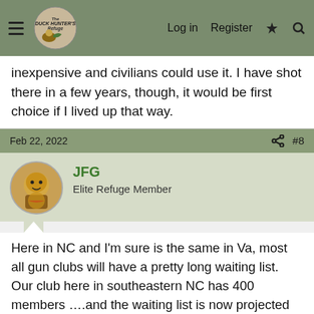Duck Hunter's Refuge | Log in | Register
inexpensive and civilians could use it. I have shot there in a few years, though, it would be first choice if I lived up that way.
Feb 22, 2022  #8
JFG
Elite Refuge Member
Here in NC and I'm sure is the same in Va, most all gun clubs will have a pretty long waiting list. Our club here in southeastern NC has 400 members ….and the waiting list is now projected out 4 years! Like good public hunting land, it's tougher to find a place to go every year. The suggestion to look for military bases that have skeet and trap fields is a good one. A bunch of us (civilians) use to make the hour drive to Jacksonville (Camp Lejuene) to shoot. Never an issue and cost were extremely